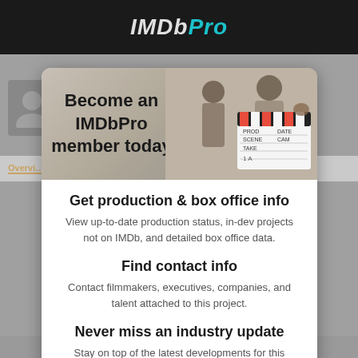IMDbPro
[Figure (screenshot): IMDbPro membership promotional modal overlay on top of a blurred IMDb page background. The modal shows 'Become an IMDbPro member today' with a photo of filmmakers with a clapperboard, followed by three feature sections.]
Become an IMDbPro member today
Get production & box office info
View up-to-date production status, in-dev projects not on IMDb, and detailed box office data.
Find contact info
Contact filmmakers, executives, companies, and talent attached to this project.
Never miss an industry update
Stay on top of the latest developments for this project with personalized notifications.